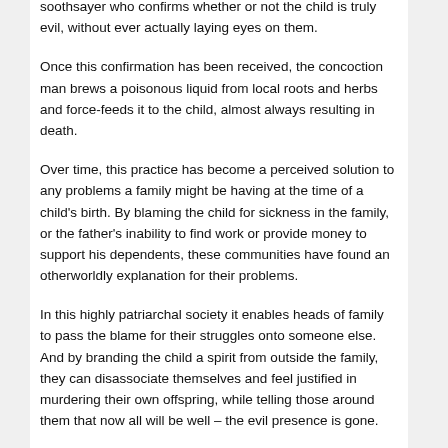soothsayer who confirms whether or not the child is truly evil, without ever actually laying eyes on them.
Once this confirmation has been received, the concoction man brews a poisonous liquid from local roots and herbs and force-feeds it to the child, almost always resulting in death.
Over time, this practice has become a perceived solution to any problems a family might be having at the time of a child's birth. By blaming the child for sickness in the family, or the father's inability to find work or provide money to support his dependents, these communities have found an otherworldly explanation for their problems.
In this highly patriarchal society it enables heads of family to pass the blame for their struggles onto someone else. And by branding the child a spirit from outside the family, they can disassociate themselves and feel justified in murdering their own offspring, while telling those around them that now all will be well – the evil presence is gone.